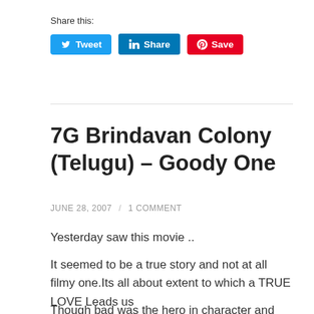Share this:
[Figure (other): Social share buttons: Tweet (Twitter/blue), Share (LinkedIn/blue), Save (Pinterest/red)]
7G Brindavan Colony (Telugu) – Goody One
JUNE 28, 2007 / 1 COMMENT
Yesterday saw this movie ..
It seemed to be a true story and not at all filmy one.Its all about extent to which a TRUE LOVE Leads us
Though bad was the hero in character and personality but still he manages to win the heart of heroine just because he was in a true LOVE that has done to